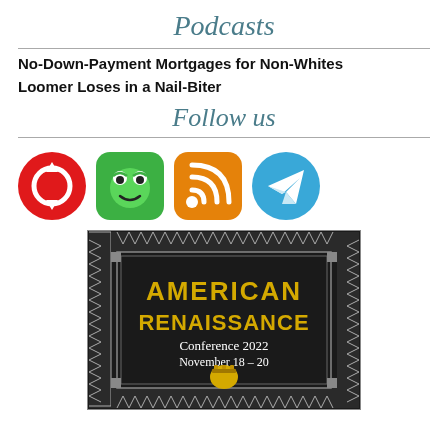Podcasts
No-Down-Payment Mortgages for Non-Whites
Loomer Loses in a Nail-Biter
Follow us
[Figure (illustration): Four social media icons: red circular arrow (Disqus/share), green frog face (Gab/Pepe), orange RSS feed, blue Telegram paper plane]
[Figure (illustration): American Renaissance Conference 2022 poster, November 18-20, dark art deco style with gold lettering and Greek column imagery]